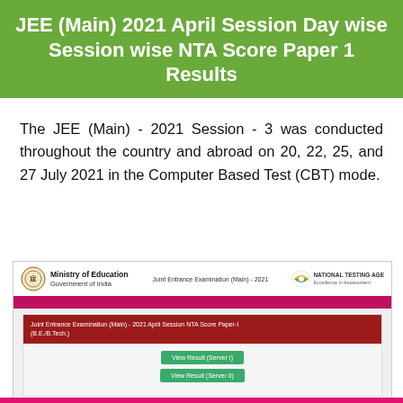JEE (Main) 2021 April Session Day wise Session wise NTA Score Paper 1 Results
The JEE (Main) - 2021 Session - 3 was conducted throughout the country and abroad on 20, 22, 25, and 27 July 2021 in the Computer Based Test (CBT) mode.
[Figure (screenshot): Screenshot of JEE Main 2021 result portal showing Ministry of Education and NTA logos, with a dark red box for 'Joint Entrance Examination (Main) - 2021 April Session NTA Score Paper-I (B.E./B.Tech.)' and two green buttons: 'View Result (Server I)' and 'View Result (Server II)']